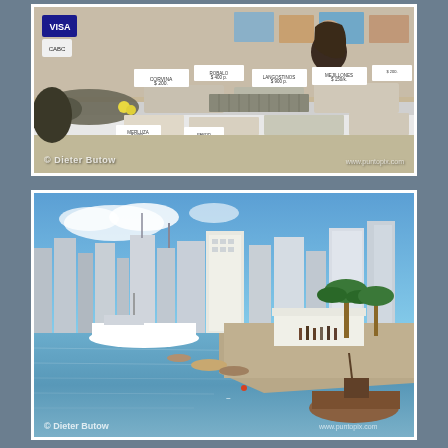[Figure (photo): A fish market stall showing various seafood displayed with price signs, a woman in black standing behind the counter. Signs with prices visible such as $900, $200, $150, $200, etc. Watermark '© Dieter Butow' visible at bottom left.]
[Figure (photo): A harbor view with marina, boats in the water, a pier with market stalls, palm trees, and tall modern buildings in the background under a blue sky. Watermark '© Dieter Butow' at bottom left and 'www.puntopix.com' at bottom right.]